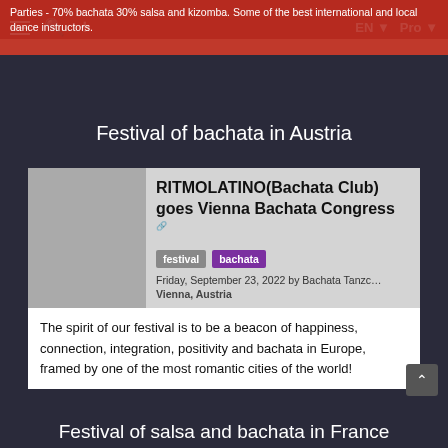Parties - 70% bachata 30% salsa and kizomba. Some of the best international and local dance instructors.
Festival of bachata in Austria
[Figure (screenshot): Event listing card for RITMOLATINO(Bachata Club) goes Vienna Bachata Congress with tags 'festival' and 'bachata', date Friday September 23 2022 by Bachata Tanzc..., location Vienna Austria]
The spirit of our festival is to be a beacon of happiness, connection, integration, positivity and bachata in Europe, framed by one of the most romantic cities of the world!
Festival of salsa and bachata in France